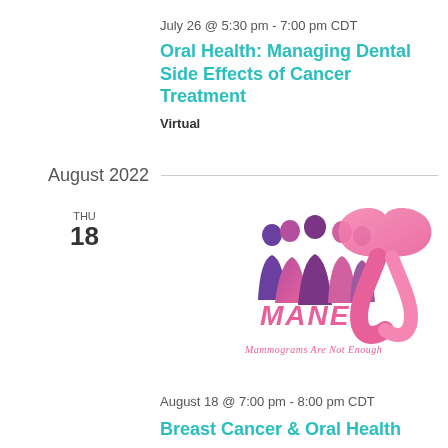July 26 @ 5:30 pm - 7:00 pm CDT
Oral Health: Managing Dental Side Effects of Cancer Treatment
Virtual
August 2022
THU
18
[Figure (logo): MANE - Mammograms Are Not Enough logo featuring silhouettes of women in purple and pink with a pink breast cancer awareness ribbon]
August 18 @ 7:00 pm - 8:00 pm CDT
Breast Cancer & Oral Health